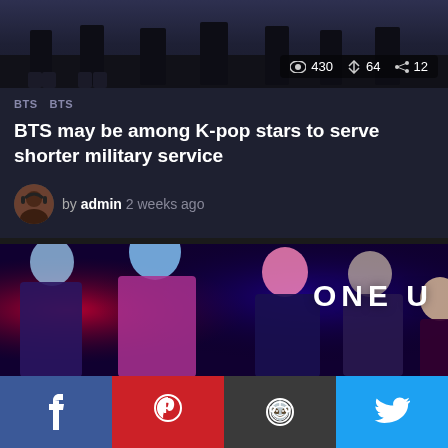[Figure (photo): Top banner image showing BTS members from waist down, dark background. Stats overlay showing 430 views, 64 reposts, 12 shares.]
BTS  BTS
BTS may be among K-pop stars to serve shorter military service
by admin 2 weeks ago
[Figure (photo): K-pop group photo with performers in colorful outfits (pink, purple) against vivid red and blue backdrop. 'ONE U' text visible in upper right.]
f  p  (reddit icon)  (twitter bird)